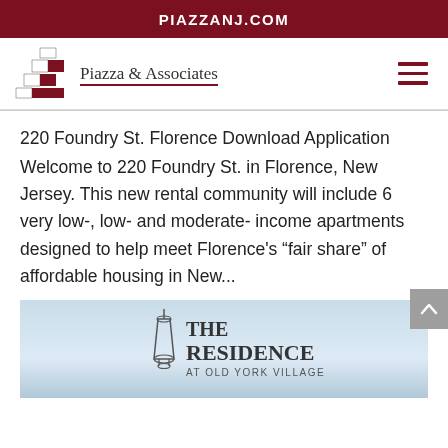PIAZZANJ.COM
[Figure (logo): Piazza & Associates logo with stacked colored blocks and company name]
220 Foundry St. Florence Download Application
Welcome to 220 Foundry St. in Florence, New Jersey. This new rental community will include 6 very low-, low- and moderate- income apartments designed to help meet Florence's “fair share” of affordable housing in New...
[Figure (logo): The Residence at Old York Village logo with lantern icon on light blue background]